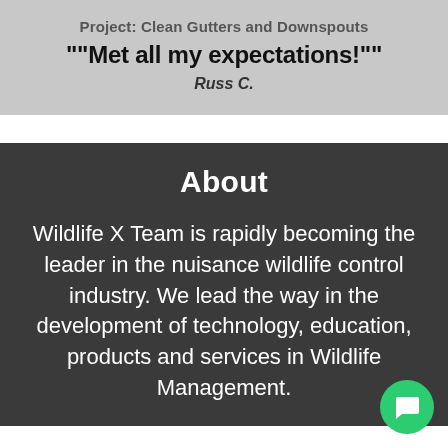Project: Clean Gutters and Downspouts
""Met all my expectations!""
Russ C.
About
Wildlife X Team is rapidly becoming the leader in the nuisance wildlife control industry. We lead the way in the development of technology, education, products and services in Wildlife Management.